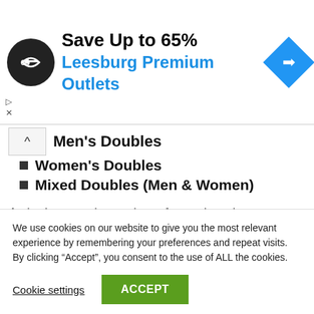[Figure (other): Advertisement banner: black circle logo with arrow symbol, text 'Save Up to 65% Leesburg Premium Outlets', blue diamond navigation icon]
Men's Doubles
Women's Doubles
Mixed Doubles (Men & Women)
A singles match consists of two player's one person on each side of the court. A doubles match consists of four players with two people per side of the badminton court.
What Is The Correct Height Of The Badminton
We use cookies on our website to give you the most relevant experience by remembering your preferences and repeat visits. By clicking “Accept”, you consent to the use of ALL the cookies.
Cookie settings   ACCEPT